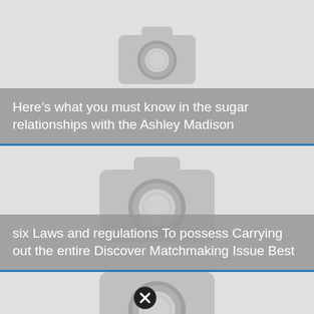[Figure (screenshot): Placeholder camera icon for first article card (partially visible at top)]
Here’s what you must know in the sugar relationships with the Ashley Madison
[Figure (screenshot): Placeholder camera icon for second article card]
six Laws and regulations To possess Carrying out the entire Discover Matchmaking Issue Best
[Figure (screenshot): Placeholder camera icon for third article card (partially visible at bottom)]